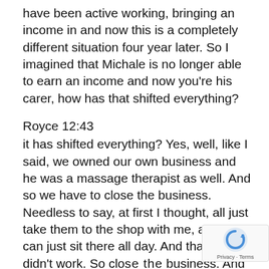have been active working, bringing an income in and now this is a completely different situation four year later. So I imagined that Michale is no longer able to earn an income and now you're his carer, how has that shifted everything?
Royce 12:43
it has shifted everything? Yes, well, like I said, we owned our own business and he was a massage therapist as well. And so we have to close the business. Needless to say, at first I thought, all just take them to the shop with me, and you can just sit there all day. And that that didn't work. So clo__ the business. And in California, there's a, a progra__ called in home support services where if you're on